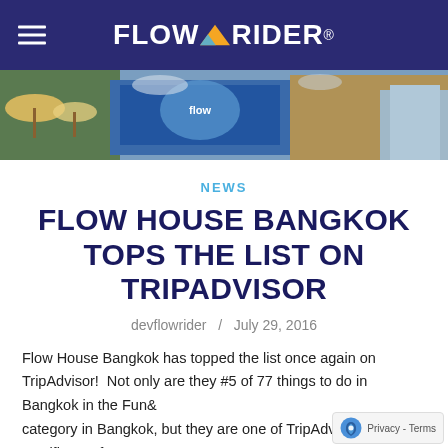FLOW RIDER
[Figure (photo): Outdoor scene with FlowRider signage, tropical setting with palm trees and colorful banners]
NEWS
FLOW HOUSE BANGKOK TOPS THE LIST ON TRIPADVISOR
devflowrider / July 29, 2016
Flow House Bangkok has topped the list once again on TripAdvisor!  Not only are they #5 of 77 things to do in Bangkok in the Fun & category in Bangkok, but they are one of TripAdvisor's Certificate of Excellence recipients. After only operating for 4 years, Flow House